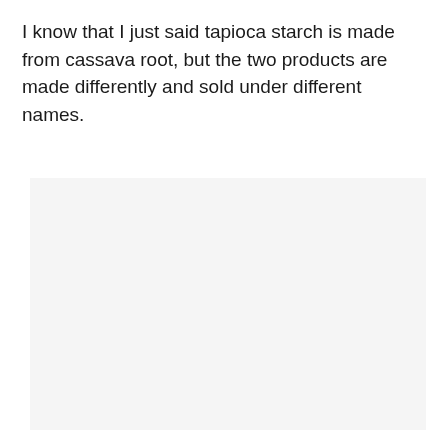I know that I just said tapioca starch is made from cassava root, but the two products are made differently and sold under different names.
[Figure (other): A large light gray rectangular image placeholder area occupying the lower portion of the page.]